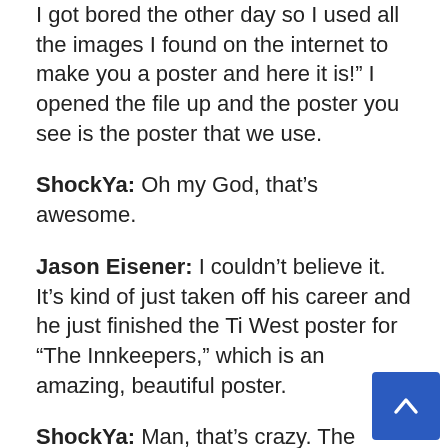I got bored the other day so I used all the images I found on the internet to make you a poster and here it is!” I opened the file up and the poster you see is the poster that we use.
ShockYa: Oh my God, that’s awesome.
Jason Eisener: I couldn’t believe it. It’s kind of just taken off his career and he just finished the Ti West poster for “The Innkeepers,” which is an amazing, beautiful poster.
ShockYa: Man, that’s crazy. The power of the internet, the power of technology!
Jason Eisener: Absolutely! (Laughs) It’s good for some things for sure.